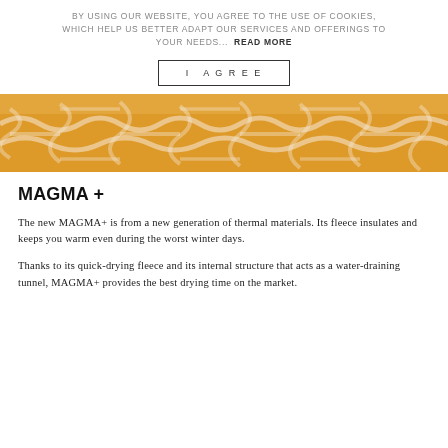BY USING OUR WEBSITE, YOU AGREE TO THE USE OF COOKIES, WHICH HELP US BETTER ADAPT OUR SERVICES AND OFFERINGS TO YOUR NEEDS... READ MORE
I AGREE
[Figure (photo): Close-up texture of orange/golden fleece fabric showing a wavy, maze-like pattern]
MAGMA +
The new MAGMA+ is from a new generation of thermal materials. Its fleece insulates and keeps you warm even during the worst winter days.
Thanks to its quick-drying fleece and its internal structure that acts as a water-draining tunnel, MAGMA+ provides the best drying time on the market.